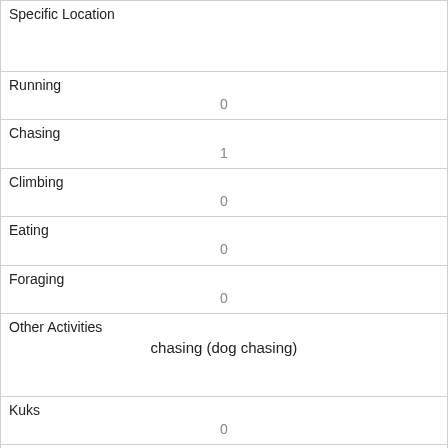| Specific Location |  |
| Running | 0 |
| Chasing | 1 |
| Climbing | 0 |
| Eating | 0 |
| Foraging | 0 |
| Other Activities | chasing (dog chasing) |
| Kuks | 0 |
| Quaas | 0 |
| Moans | 0 |